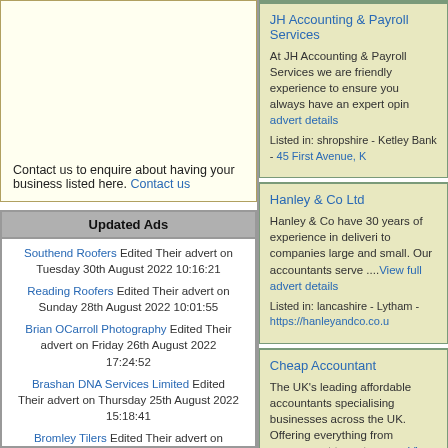Contact us to enquire about having your business listed here. Contact us
Updated Ads
Southend Roofers Edited Their advert on Tuesday 30th August 2022 10:16:21
Reading Roofers Edited Their advert on Sunday 28th August 2022 10:01:55
Brian OCarroll Photography Edited Their advert on Friday 26th August 2022 17:24:52
Brashan DNA Services Limited Edited Their advert on Thursday 25th August 2022 15:18:41
Bromley Tilers Edited Their advert on Thursday 25th August 2022 11:59:37
Bromley Tilers Edited Their advert on Thursday 25th August 2022 11:59:05
Neroli Edited Their advert on Wednesday 24th August 2022 10:45:05
JH Accounting & Payroll Services
At JH Accounting & Payroll Services we are friendly experience to ensure you always have an expert opin advert details
Listed in: shropshire - Ketley Bank - 45 First Avenue, K
Hanley & Co Ltd
Hanley & Co have 30 years of experience in deliveri to companies large and small. Our accountants serve ....View full advert details
Listed in: lancashire - Lytham - https://hanleyandco.co.u
Cheap Accountant
The UK's leading affordable accountants specialising businesses across the UK. Offering everything from assessment tax returns. ....View full advert details
Listed in: greater-manchester - Manchester - http://www